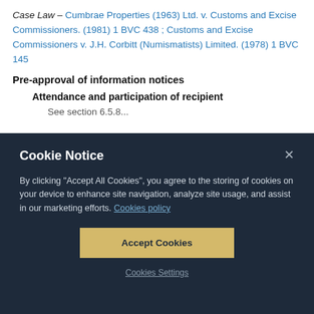Case Law – Cumbrae Properties (1963) Ltd. v. Customs and Excise Commissioners. (1981) 1 BVC 438 ; Customs and Excise Commissioners v. J.H. Corbitt (Numismatists) Limited. (1978) 1 BVC 145
Pre-approval of information notices
Attendance and participation of recipient
Cookie Notice
By clicking "Accept All Cookies", you agree to the storing of cookies on your device to enhance site navigation, analyze site usage, and assist in our marketing efforts. Cookies policy
Accept Cookies
Cookies Settings